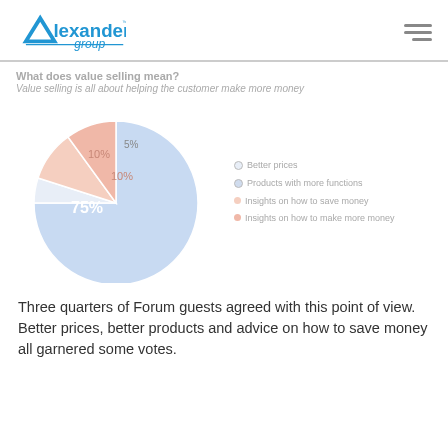Alexander group
What does value selling mean?
Value selling is all about helping the customer make more money
[Figure (pie-chart): What does value selling mean?]
Three quarters of Forum guests agreed with this point of view. Better prices, better products and advice on how to save money all garnered some votes.